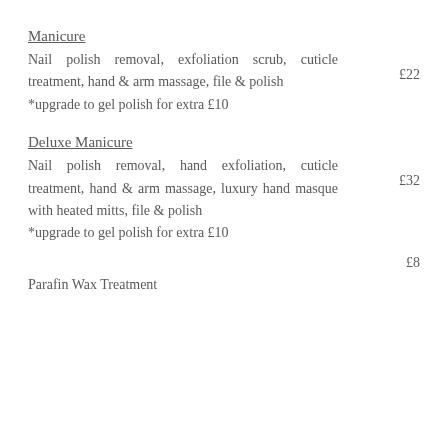Manicure
Nail polish removal, exfoliation scrub, cuticle treatment, hand & arm massage, file & polish
*upgrade to gel polish for extra £10
£22
Deluxe Manicure
Nail polish removal, hand exfoliation, cuticle treatment, hand & arm massage, luxury hand masque with heated mitts, file & polish
*upgrade to gel polish for extra £10
£32
£8
Parafin Wax Treatment